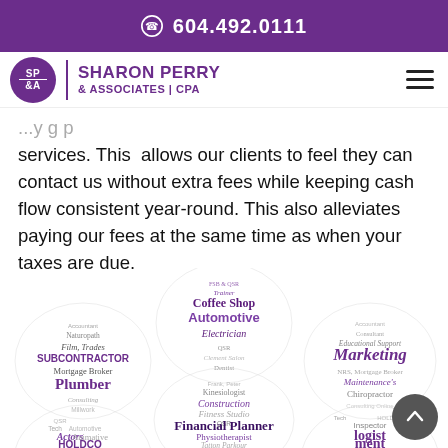604.492.0111
[Figure (logo): Sharon Perry & Associates CPA logo with purple circle SP&A icon and company name]
services. This allows our clients to feel they can contact us without extra fees while keeping cash flow consistent year-round. This also alleviates paying our fees at the same time as when your taxes are due.
[Figure (infographic): Word cloud circles showing various business types: Trainer, Coffee Shop, Automotive, Electrician, Dentist, Naturopath, Film, Trades, Subcontractor, Mortgage Broker, Plumber, Consulting, Millwork, Financial Planner, Physiotherapist, Construction, Fitness Studio, QSR, Bookkeeper, Tatton Parkour, Plumber, Educational Support, Marketing, Maintenance, Chiropractor, Actors, HOLDCO, Tech, QSR, Kinesologist, Frank, Peter, Inspector, Logist, ment]